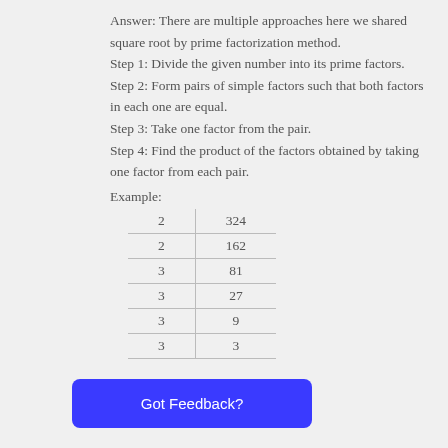Answer: There are multiple approaches here we shared square root by prime factorization method. Step 1: Divide the given number into its prime factors. Step 2: Form pairs of simple factors such that both factors in each one are equal. Step 3: Take one factor from the pair. Step 4: Find the product of the factors obtained by taking one factor from each pair.
Example:
| 2 | 324 |
| 2 | 162 |
| 3 | 81 |
| 3 | 27 |
| 3 | 9 |
| 3 | 3 |
Got Feedback?